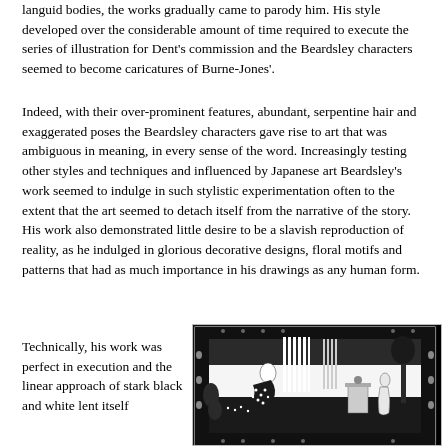languid bodies, the works gradually came to parody him. His style developed over the considerable amount of time required to execute the series of illustration for Dent's commission and the Beardsley characters seemed to become caricatures of Burne-Jones'.
Indeed, with their over-prominent features, abundant, serpentine hair and exaggerated poses the Beardsley characters gave rise to art that was ambiguous in meaning, in every sense of the word. Increasingly testing other styles and techniques and influenced by Japanese art Beardsley's work seemed to indulge in such stylistic experimentation often to the extent that the art seemed to detach itself from the narrative of the story. His work also demonstrated little desire to be a slavish reproduction of reality, as he indulged in glorious decorative designs, floral motifs and patterns that had as much importance in his drawings as any human form.
Technically, his work was perfect in execution and the linear approach of stark black and white lent itself
[Figure (illustration): Black and white Art Nouveau illustration by Aubrey Beardsley showing a decorative scene with figures in a garden-like setting, featuring bold black areas, intricate floral border patterns, and characteristic Beardsley style stark black and white contrast.]